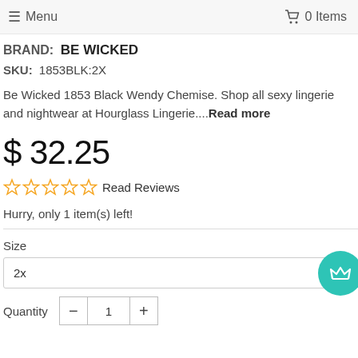≡ Menu   🛒 0 Items
BRAND:  BE WICKED
SKU:  1853BLK:2X
Be Wicked 1853 Black Wendy Chemise. Shop all sexy lingerie and nightwear at Hourglass Lingerie....Read more
$ 32.25
☆☆☆☆☆ Read Reviews
Hurry, only 1 item(s) left!
Size
2x
Quantity - 1 +